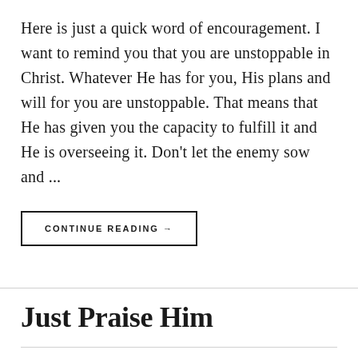Here is just a quick word of encouragement. I want to remind you that you are unstoppable in Christ. Whatever He has for you, His plans and will for you are unstoppable. That means that He has given you the capacity to fulfill it and He is overseeing it. Don't let the enemy sow and ...
CONTINUE READING →
Just Praise Him